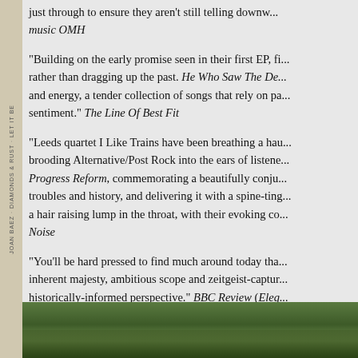just through to ensure they aren't still telling downw... music OMH
"Building on the early promise seen in their first EP, fi... rather than dragging up the past. He Who Saw The De... and energy, a tender collection of songs that rely on pa... sentiment." The Line Of Best Fit
"Leeds quartet I Like Trains have been breathing a hau... brooding Alternative/Post Rock into the ears of listene... Progress Reform, commemorating a beautifully conju... troubles and history, and delivering it with a spine-ting... a hair raising lump in the throat, with their evoking co... Noise
"You'll be hard pressed to find much around today tha... inherent majesty, ambitious scope and zeitgeist-captur... historically-informed perspective." BBC Review (Eleg...
[Figure (photo): Outdoor photo showing green foliage and trees, partially visible at bottom of page]